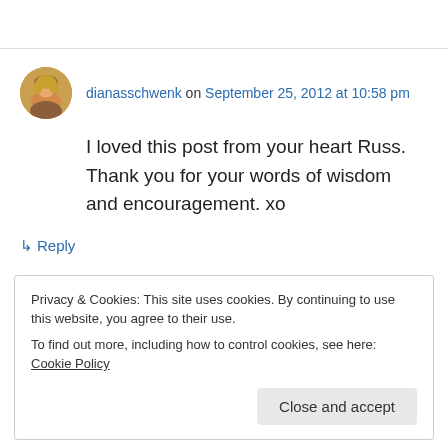[Figure (photo): Avatar photo of dianasschwenk, a circular profile picture of a woman with blonde hair]
dianasschwenk on September 25, 2012 at 10:58 pm
I loved this post from your heart Russ. Thank you for your words of wisdom and encouragement. xo
↳ Reply
Privacy & Cookies: This site uses cookies. By continuing to use this website, you agree to their use.
To find out more, including how to control cookies, see here: Cookie Policy
Close and accept